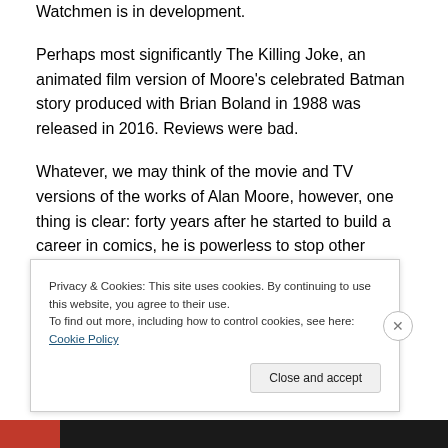Watchmen is in development.
Perhaps most significantly The Killing Joke, an animated film version of Moore’s celebrated Batman story produced with Brian Boland in 1988 was released in 2016. Reviews were bad.
Whatever, we may think of the movie and TV versions of the works of Alan Moore, however, one thing is clear: forty years after he started to build a career in comics, he is powerless to stop other people making films of his work.
CHRIS HALLAM
Privacy & Cookies: This site uses cookies. By continuing to use this website, you agree to their use.
To find out more, including how to control cookies, see here: Cookie Policy